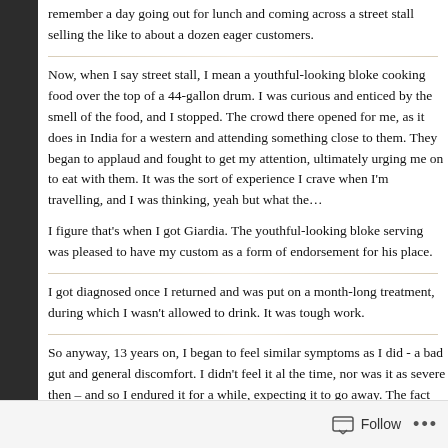remember a day going out for lunch and coming across a street stall selling the like to about a dozen eager customers.
Now, when I say street stall, I mean a youthful-looking bloke cooking food over the top of a 44-gallon drum. I was curious and enticed by the smell of the food, and I stopped. The crowd there opened for me, as it does in India for a western and attending something close to them. They began to applaud and fought to get my attention, ultimately urging me on to eat with them. It was the sort of experience I crave when I'm travelling, and I was thinking, yeah but what the...
I figure that's when I got Giardia. The youthful-looking bloke serving was pleased to have my custom as a form of endorsement for his place.
I got diagnosed once I returned and was put on a month-long treatment, during which I wasn't allowed to drink. It was tough work.
So anyway, 13 years on, I began to feel similar symptoms as I did - a bad gut and general discomfort. I didn't feel it al the time, nor was it as severe then – and so I endured it for a while, expecting it to go away. The fact I'd been nowhere for ages, near enough, let alone somewhere like India. The chances of any kind of stomach parasite are very limited.